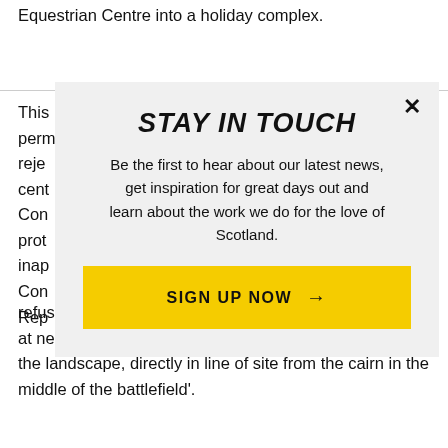Equestrian Centre into a holiday complex.
This [partially obscured] permission rejected centre Con protection inap Con Reporter refuse planning permission for a housing development at nearby Viewhill Farm, which now 'forms a real blot on the landscape, directly in line of site from the cairn in the middle of the battlefield'.
STAY IN TOUCH
Be the first to hear about our latest news, get inspiration for great days out and learn about the work we do for the love of Scotland.
SIGN UP NOW →